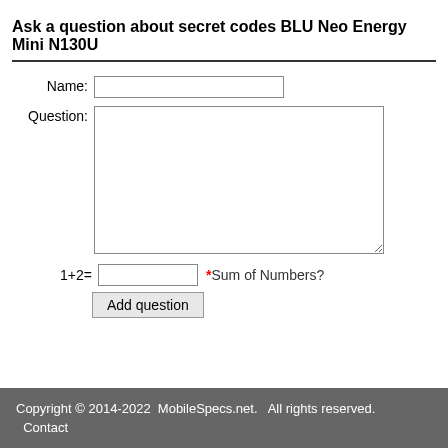Ask a question about secret codes BLU Neo Energy Mini N130U
Name:
Question:
1+2= *Sum of Numbers?
Add question
Copyright © 2014-2022  MobileSpecs.net.   All rights reserved.
Contact